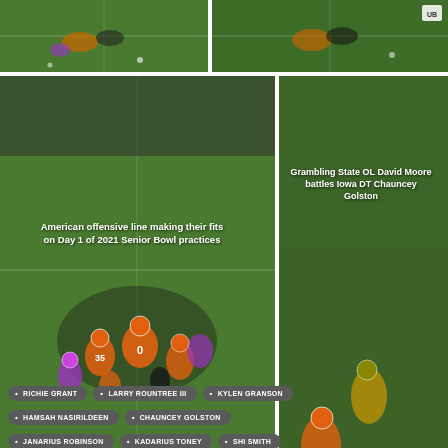[Figure (photo): Football field photo top left, aerial view of players on green field]
[Figure (photo): Football field photo top right, aerial view of players on green field with logo visible]
[Figure (photo): American offensive line making their fits on Day 1 of 2021 Senior Bowl practices - large center photo]
[Figure (photo): Grambling State OL David Moore battles Iowa DT Chauncey Golston - right side photo]
Article text with notes about Senior Bowl practices and player observations
RICHIE GRANT
LARRY ROUNTREE III
KYLEN GRANSON
HAMSAH NASIRILDEEN
CHAUNCEY GOLSTON
JANARIUS ROBINSON
KADARIUS TONEY
SHI SMITH